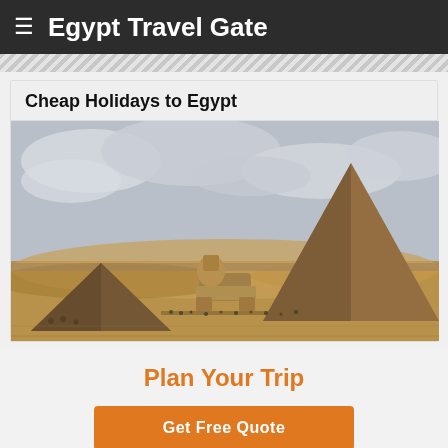Egypt Travel Gate
Cheap Holidays to Egypt
[Figure (photo): Photograph of the Pyramids of Giza and the Great Sphinx in the desert, with a cloudy sky. Two pyramids are visible — a smaller one on the left and a large one on the right — with the Sphinx in the middle ground and tourists visible at the base.]
Plan Your Trip
Get Free Quote